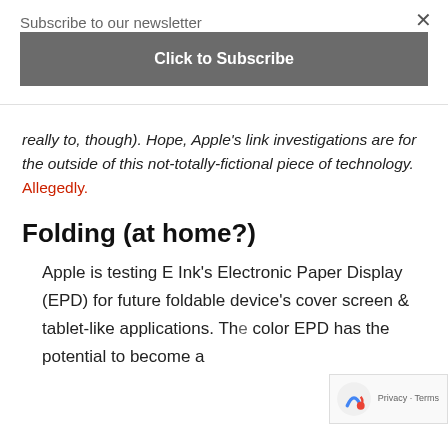Subscribe to our newsletter
Click to Subscribe
really to, though). Hope, Apple's link investigations are for the outside of this not-totally-fictional piece of technology. Allegedly.
Folding (at home?)
Apple is testing E Ink’s Electronic Paper Display (EPD) for future foldable device’s cover screen & tablet-like applications. Th… color EPD has the potential to become a